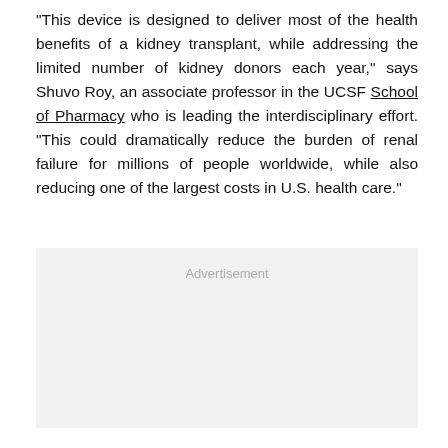"This device is designed to deliver most of the health benefits of a kidney transplant, while addressing the limited number of kidney donors each year," says Shuvo Roy, an associate professor in the UCSF School of Pharmacy who is leading the interdisciplinary effort. "This could dramatically reduce the burden of renal failure for millions of people worldwide, while also reducing one of the largest costs in U.S. health care."
[Figure (other): Advertisement placeholder box with light grey background and 'Advertisement' label text centered near the top]